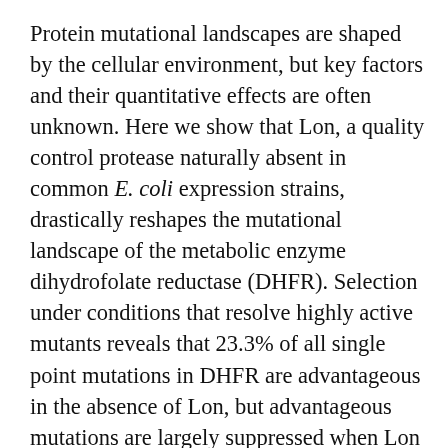Protein mutational landscapes are shaped by the cellular environment, but key factors and their quantitative effects are often unknown. Here we show that Lon, a quality control protease naturally absent in common E. coli expression strains, drastically reshapes the mutational landscape of the metabolic enzyme dihydrofolate reductase (DHFR). Selection under conditions that resolve highly active mutants reveals that 23.3% of all single point mutations in DHFR are advantageous in the absence of Lon, but advantageous mutations are largely suppressed when Lon is reintroduced. Protein stability measurements demonstrate extensive activity-stability tradeoffs for the advantageous mutants and provide a mechanistic explanation for Lon's widespread impact. Our findings suggest possibilities for tuning mutational landscapes by modulating the cellular environment, with